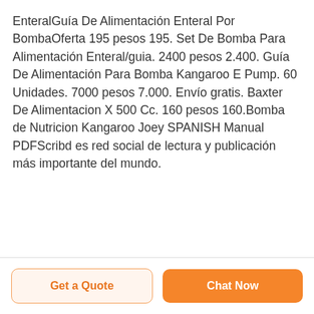EnteralGuía De Alimentación Enteral Por BombaOferta 195 pesos 195. Set De Bomba Para Alimentación Enteral/guia. 2400 pesos 2.400. Guía De Alimentación Para Bomba Kangaroo E Pump. 60 Unidades. 7000 pesos 7.000. Envío gratis. Baxter De Alimentacion X 500 Cc. 160 pesos 160.Bomba de Nutricion Kangaroo Joey SPANISH Manual PDFScribd es red social de lectura y publicación más importante del mundo.
Get a Quote
Chat Now